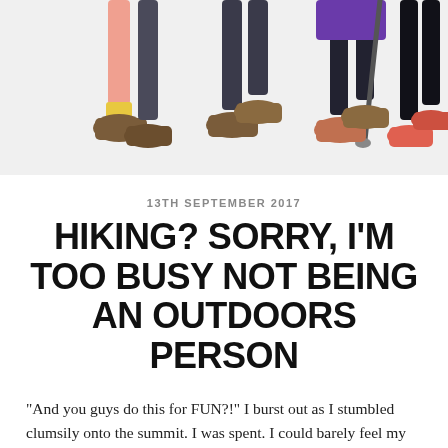[Figure (illustration): Illustration showing the lower legs and feet of four hikers walking, wearing hiking boots and outdoor gear on a light grey background]
13TH SEPTEMBER 2017
HIKING? SORRY, I'M TOO BUSY NOT BEING AN OUTDOORS PERSON
“And you guys do this for FUN?!” I burst out as I stumbled clumsily onto the summit. I was spent. I could barely feel my legs, and I was sure I was